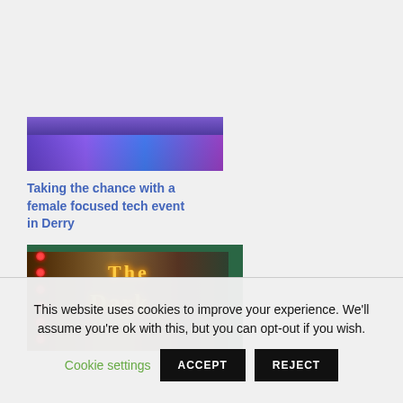[Figure (logo): RAISE brand logo with circular diamond/network graphic icon and text 'RAISE']
[Figure (photo): Navigation hamburger menu button on blue gradient background]
[Figure (photo): Stage/event photo with purple lighting, partial view]
Taking the chance with a female focused tech event in Derry
[Figure (photo): Exterior sign showing 'The Dark' in golden illuminated letters on wooden background with red lights and green frame]
This website uses cookies to improve your experience. We'll assume you're ok with this, but you can opt-out if you wish.
Cookie settings  ACCEPT  REJECT